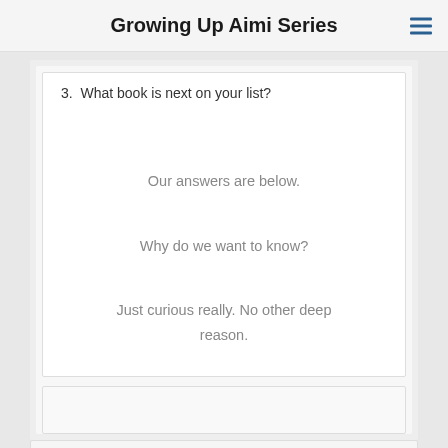Growing Up Aimi Series
3.  What book is next on your list?
Our answers are below.
Why do we want to know?
Just curious really. No other deep reason.